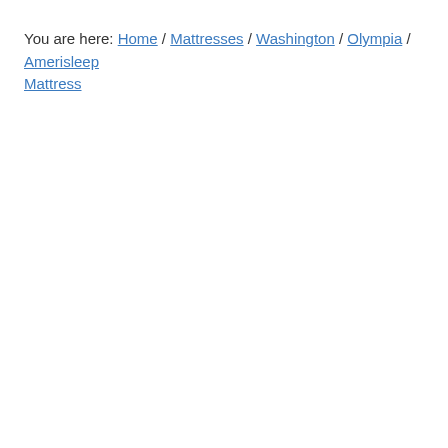You are here: Home / Mattresses / Washington / Olympia / Amerisleep Mattress